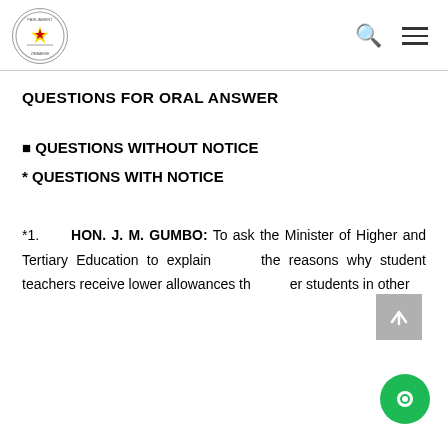Parliament of Zimbabwe logo with search and menu icons
QUESTIONS FOR ORAL ANSWER
■ QUESTIONS WITHOUT NOTICE
* QUESTIONS WITH NOTICE
*1.     HON. J. M. GUMBO: To ask the Minister of Higher and Tertiary Education to explain       the reasons why student teachers receive lower allowances than other students in other